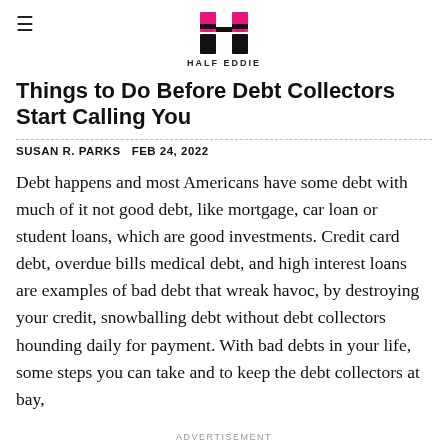[Figure (logo): Half Eddie logo: stylized H shape in pink and black]
Things to Do Before Debt Collectors Start Calling You
SUSAN R. PARKS  FEB 24, 2022
Debt happens and most Americans have some debt with much of it not good debt, like mortgage, car loan or student loans, which are good investments. Credit card debt, overdue bills medical debt, and high interest loans are examples of bad debt that wreak havoc, by destroying your credit, snowballing debt without debt collectors hounding daily for payment. With bad debts in your life, some steps you can take and to keep the debt collectors at bay,
ADVERTISEMENT